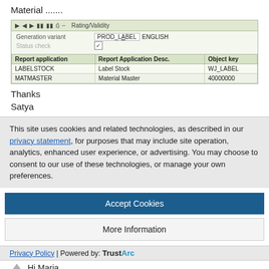Material .......
[Figure (screenshot): SAP-style form screenshot showing Rating/Validity tab. Fields: Generation variant = PROD_LABEL ENGLISH, Status check (checked). Table with columns: Report application, Report Application Desc., Object key. Rows: LABELSTOCK / Label Stock / WJ_LABEL; MATMASTER / Material Master / 40000000]
Thanks
Satya
This site uses cookies and related technologies, as described in our privacy statement, for purposes that may include site operation, analytics, enhanced user experience, or advertising. You may choose to consent to our use of these technologies, or manage your own preferences.
Accept Cookies
More Information
Privacy Policy | Powered by: TrustArc
Hi Maria ,